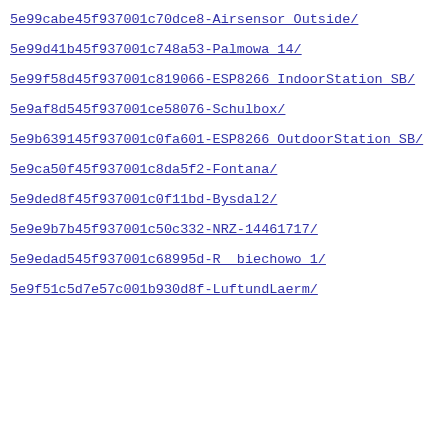5e99cabe45f937001c70dce8-Airsensor_Outside/
5e99d41b45f937001c748a53-Palmowa_14/
5e99f58d45f937001c819066-ESP8266_IndoorStation_SB/
5e9af8d545f937001ce58076-Schulbox/
5e9b639145f937001c0fa601-ESP8266_OutdoorStation_SB/
5e9ca50f45f937001c8da5f2-Fontana/
5e9ded8f45f937001c0f11bd-Bysdal2/
5e9e9b7b45f937001c50c332-NRZ-14461717/
5e9edad545f937001c68995d-R__biechowo_1/
5e9f51c5d7e57c001b930d8f-LuftundLaerm/